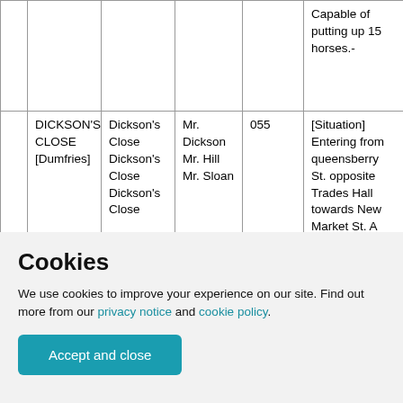|  |  |  |  | Capable of putting up 15 horses.- |
| DICKSON'S CLOSE [Dumfries] | Dickson's Close
Dickson's Close
Dickson's Close | Mr. Dickson
Mr. Hill
Mr. Sloan | 055 | [Situation] Entering from queensberry St. opposite Trades Hall towards New Market St. A wide close extending from |
Cookies
We use cookies to improve your experience on our site. Find out more from our privacy notice and cookie policy.
Accept and close